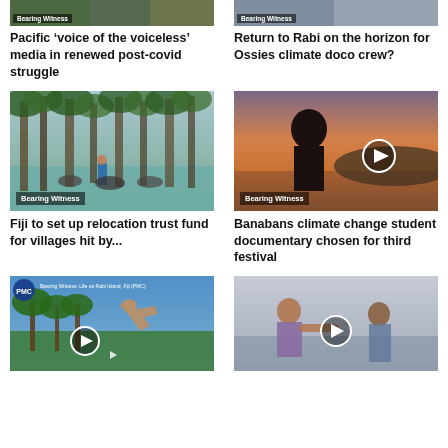[Figure (photo): Partial top image left - Bearing Witness label, person outdoors]
[Figure (photo): Partial top image right - Bearing Witness label, building/urban setting]
Pacific ‘voice of the voiceless’ media in renewed post-covid struggle
Return to Rabi on the horizon for Ossies climate doco crew?
[Figure (photo): Man standing in flooded mangrove forest in Fiji - Bearing Witness]
[Figure (photo): Silhouette of person at sunset over water - Bearing Witness - video play button]
Fiji to set up relocation trust fund for villages hit by...
Banabans climate change student documentary chosen for third festival
[Figure (screenshot): Video thumbnail - Bearing Witness Life on Rabi Island Fiji PMC - palm trees beach hands - play button]
[Figure (photo): Two people on beach/water with play button overlay]